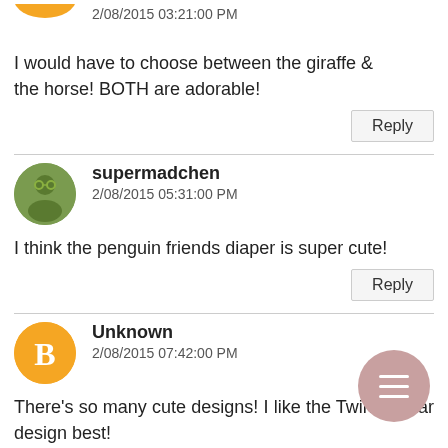2/08/2015 03:21:00 PM
I would have to choose between the giraffe & the horse! BOTH are adorable!
Reply
supermadchen
2/08/2015 05:31:00 PM
I think the penguin friends diaper is super cute!
Reply
Unknown
2/08/2015 07:42:00 PM
There's so many cute designs! I like the Twinkle Star design best!